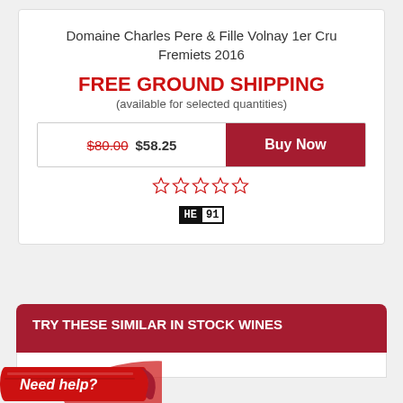Domaine Charles Pere & Fille Volnay 1er Cru Fremiets 2016
FREE GROUND SHIPPING
(available for selected quantities)
$80.00 $58.25  Buy Now
[Figure (other): Five empty star rating icons in red outline]
[Figure (other): Wine score badge showing HE 91]
TRY THESE SIMILAR IN STOCK WINES
[Figure (other): Need help? red paint brush banner]